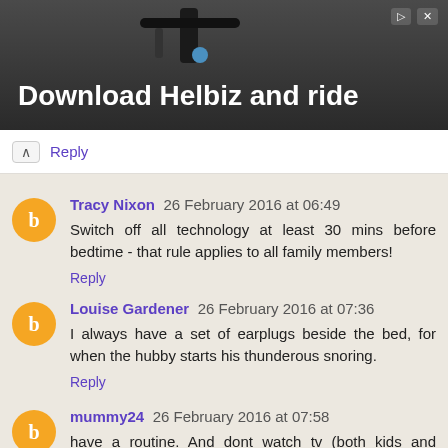[Figure (screenshot): Advertisement banner for 'Download Helbiz and ride' showing a scooter handlebar]
Reply
Tracy Nixon 26 February 2016 at 06:49
Switch off all technology at least 30 mins before bedtime - that rule applies to all family members!
Reply
Louise Gardener 26 February 2016 at 07:36
I always have a set of earplugs beside the bed, for when the hubby starts his thunderous snoring.
Reply
mummy24 26 February 2016 at 07:58
have a routine. And dont watch tv (both kids and adults)!